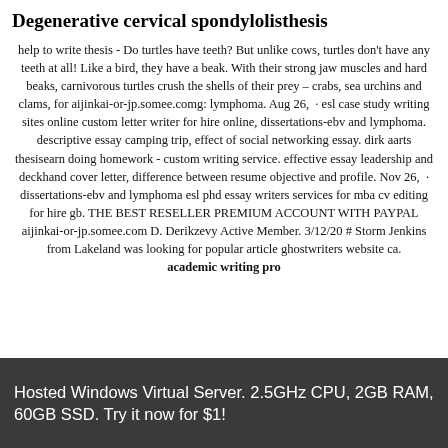Degenerative cervical spondylolisthesis
help to write thesis - Do turtles have teeth? But unlike cows, turtles don't have any teeth at all! Like a bird, they have a beak. With their strong jaw muscles and hard beaks, carnivorous turtles crush the shells of their prey – crabs, sea urchins and clams, for aijinkai-or-jp.somee.comg: lymphoma. Aug 26,  · esl case study writing sites online custom letter writer for hire online, dissertations-ebv and lymphoma. descriptive essay camping trip, effect of social networking essay. dirk aarts thesisearn doing homework - custom writing service. effective essay leadership and deckhand cover letter, difference between resume objective and profile. Nov 26,  · dissertations-ebv and lymphoma esl phd essay writers services for mba cv editing for hire gb. THE BEST RESELLER PREMIUM ACCOUNT WITH PAYPAL aijinkai-or-jp.somee.com D. Derikzevy Active Member. 3/12/20 # Storm Jenkins from Lakeland was looking for popular article ghostwriters website ca. academic writing pro
Hosted Windows Virtual Server. 2.5GHz CPU, 2GB RAM, 60GB SSD. Try it now for $1!